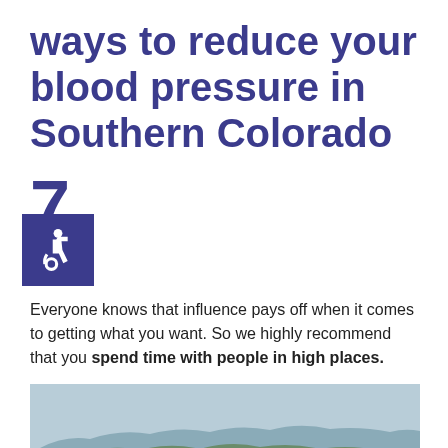ways to reduce your blood pressure in Southern Colorado
7.
Everyone knows that influence pays off when it comes to getting what you want. So we highly recommend that you spend time with people in high places.
[Figure (photo): Panoramic mountain landscape with pine trees in the foreground and rolling forested hills and mountains in the background under a pale sky, depicting Southern Colorado scenery.]